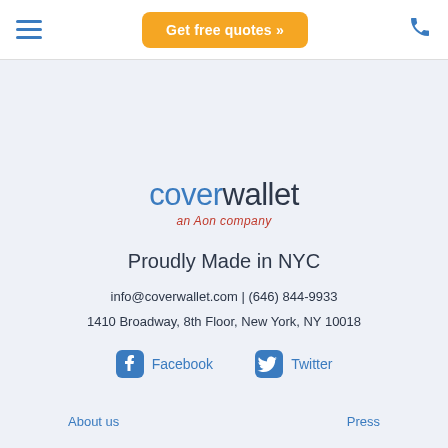Get free quotes »
[Figure (logo): CoverWallet logo with 'cover' in blue and 'wallet' in dark, subtitle 'an Aon company' in red italic]
Proudly Made in NYC
info@coverwallet.com | (646) 844-9933
1410 Broadway, 8th Floor, New York, NY 10018
Facebook   Twitter
About us   Press